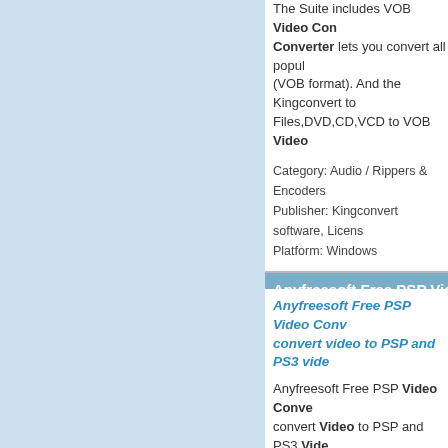The Suite includes VOB Video Converter lets you convert all popular (VOB format). And the Kingconvert to Files,DVD,CD,VCD to VOB Video
Category: Audio / Rippers & Encoders
Publisher: Kingconvert software, License
Platform: Windows
Anyfreesoft Free PSP Video C
Anyfreesoft Free PSP Video Converter convert video to PSP and PS3 vide
Anyfreesoft Free PSP Video Converter convert Video to PSP and PS3 Vide MPG, TS,VOB, DAT, RM, RMVB, AS The Free PSP Video Converter can
Category: DVD & Video / Video Convers
Publisher: anyfreesoft.com, License: Fre
Platform: Windows
Anyviewsoft iPhone 4 Video C
Anyviewsoft iPhone 4 Video Conv any video to iPhone 4 movie such
Anyviewsoft iPhone 4 Video Converter Video to iPhone 4 movie such as co MPG, TS,VOB, DAT, RM, RMVB, AS